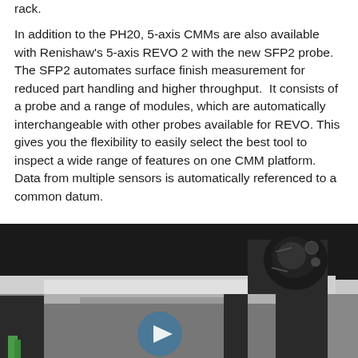rack.
In addition to the PH20, 5-axis CMMs are also available with Renishaw's 5-axis REVO 2 with the new SFP2 probe. The SFP2 automates surface finish measurement for reduced part handling and higher throughput. It consists of a probe and a range of modules, which are automatically interchangeable with other probes available for REVO. This gives you the flexibility to easily select the best tool to inspect a wide range of features on one CMM platform. Data from multiple sensors is automatically referenced to a common datum.
[Figure (photo): A photograph of a CMM (Coordinate Measuring Machine) with a scanning probe head, showing the machine arm and probe in close-up. A blue play button overlay is visible in the center-bottom area of the image, indicating this is a video thumbnail.]